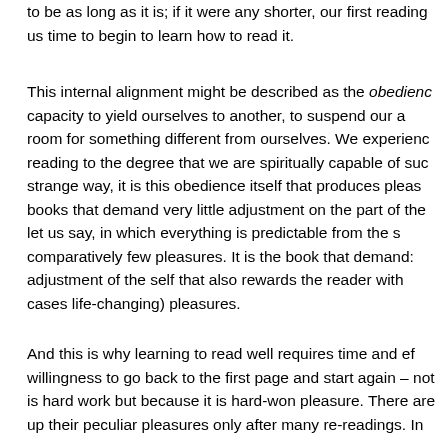to be as long as it is; if it were any shorter, our first reading would not give us time to begin to learn how to read it.
This internal alignment might be described as the obedience of the reader — the capacity to yield ourselves to another, to suspend our a room for something different from ourselves. We experience reading to the degree that we are spiritually capable of such strange way, it is this obedience itself that produces pleas books that demand very little adjustment on the part of the let us say, in which everything is predictable from the s comparatively few pleasures. It is the book that demands adjustment of the self that also rewards the reader with cases life-changing) pleasures.
And this is why learning to read well requires time and ef willingness to go back to the first page and start again – not is hard work but because it is hard-won pleasure. There are up their peculiar pleasures only after many re-readings. In